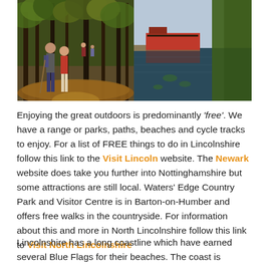[Figure (photo): Two photos side by side: left shows hikers walking on an autumn woodland path; right shows a canal with narrowboats and reflections in calm water.]
Enjoying the great outdoors is predominantly 'free'. We have a range or parks, paths, beaches and cycle tracks to enjoy. For a list of FREE things to do in Lincolnshire follow this link to the Visit Lincoln website. The Newark website does take you further into Nottinghamshire but some attractions are still local. Waters' Edge Country Park and Visitor Centre is in Barton-on-Humber and offers free walks in the countryside. For information about this and more in North Lincolnshire follow this link to Visit North Lincolnshire
Lincolnshire has a long coastline which have earned several Blue Flags for their beaches. The coast is